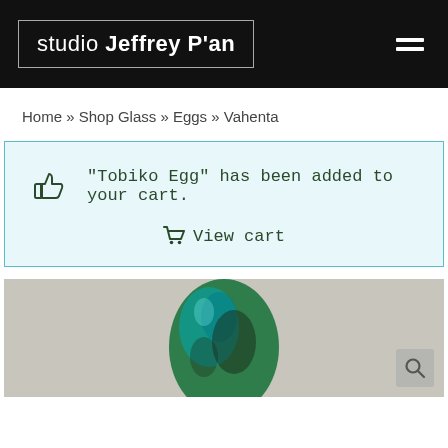studio Jeffrey P'an
Home » Shop Glass » Eggs » Vahenta
"Tobiko Egg" has been added to your cart.
View cart
[Figure (photo): Glass egg product photo — a green and teal/black swirled glass egg on a grey background, partially visible at the bottom of the page. A search/zoom icon appears in the bottom-right corner of the image.]